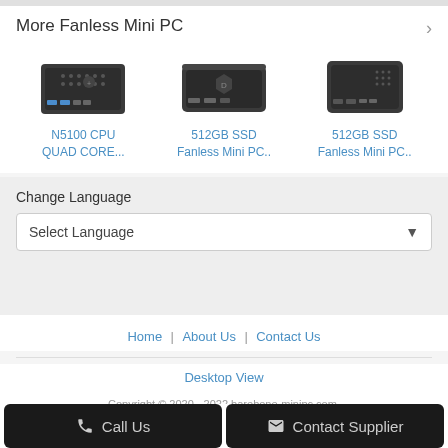More Fanless Mini PC
[Figure (photo): Three fanless mini PC product images side by side]
N5100 CPU QUAD CORE...
512GB SSD Fanless Mini PC..
512GB SSD Fanless Mini PC..
Change Language
Select Language
Home | About Us | Contact Us
Desktop View
Copyright © 2020 - 2022 barebone-minipc.com.
All rights reserved.
Call Us
Contact Supplier